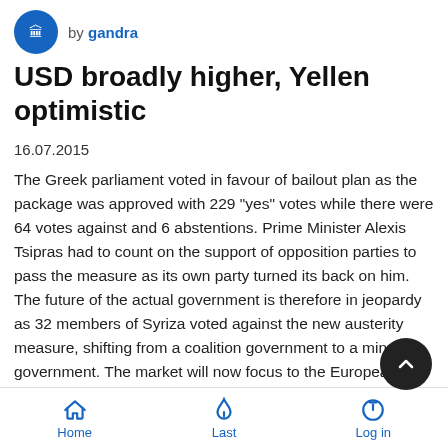by gandra
USD broadly higher, Yellen optimistic
16.07.2015
The Greek parliament voted in favour of bailout plan as the package was approved with 229 "yes" votes while there were 64 votes against and 6 abstentions. Prime Minister Alexis Tsipras had to count on the support of opposition parties to pass the measure as its own party turned its back on him. The future of the actual government is therefore in jeopardy as 32 members of Syriza voted against the new austerity measure, shifting from a coalition government to a minority government. The market will now focus to the European Central Bank meeting where we anticipate an increase in the threshold for ELA to Greek ban... Now that tensions surrounding the Greek situation had eas... the market will now look again at US data and try to guess when
Home  Last  Log in